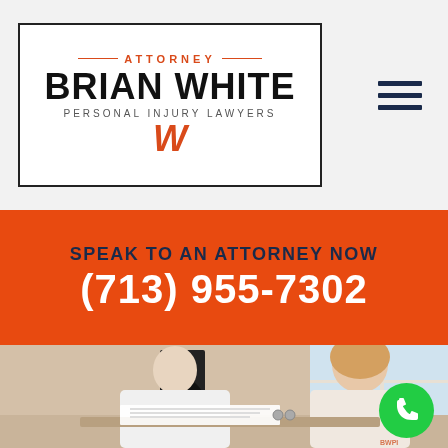[Figure (logo): Attorney Brian White Personal Injury Lawyers logo with red W emblem inside a bordered box]
SPEAK TO AN ATTORNEY NOW
(713) 955-7302
[Figure (photo): A male attorney in a white shirt reviewing documents with a female client in a consulting office setting]